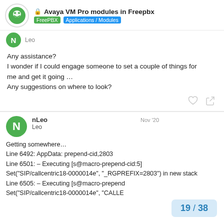🔒 Avaya VM Pro modules in Freepbx | FreePBX | Applications / Modules
Leo
Any assistance?
I wonder if I could engage someone to set a couple of things for me and get it going …
Any suggestions on where to look?
nLeo Leo Nov '20
Getting somewhere…
Line 6492: AppData: prepend-cid,2803
Line 6501: – Executing [s@macro-prepend-cid:5]
Set("SIP/callcentric18-0000014e", "_RGPREFIX=2803") in new stack
Line 6505: – Executing [s@macro-prepend
Set("SIP/callcentric18-0000014e", "CALLE
19 / 38